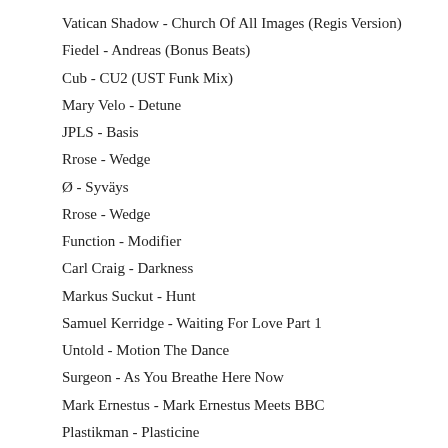Vatican Shadow - Church Of All Images (Regis Version)
Fiedel - Andreas (Bonus Beats)
Cub - CU2 (UST Funk Mix)
Mary Velo - Detune
JPLS - Basis
Rrose - Wedge
Ø - Syväys
Rrose - Wedge
Function - Modifier
Carl Craig - Darkness
Markus Suckut - Hunt
Samuel Kerridge - Waiting For Love Part 1
Untold - Motion The Dance
Surgeon - As You Breathe Here Now
Mark Ernestus - Mark Ernestus Meets BBC
Plastikman - Plasticine
Trevino - Uptight
VCMG - Spock (Regis Remix)